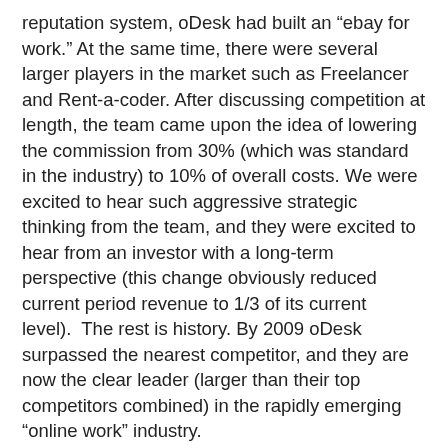reputation system, oDesk had built an “ebay for work.” At the same time, there were several larger players in the market such as Freelancer and Rent-a-coder. After discussing competition at length, the team came upon the idea of lowering the commission from 30% (which was standard in the industry) to 10% of overall costs. We were excited to hear such aggressive strategic thinking from the team, and they were excited to hear from an investor with a long-term perspective (this change obviously reduced current period revenue to 1/3 of its current level).  The rest is history. By 2009 oDesk surpassed the nearest competitor, and they are now the clear leader (larger than their top competitors combined) in the rapidly emerging “online work” industry.
All of which leads us to two very interesting rake examples that are front and center in today’s Internet – Facebook and Apple. Both of these companies